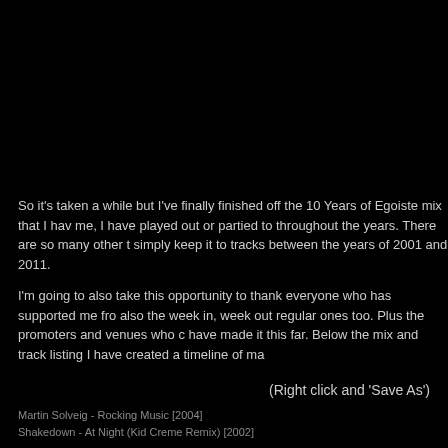So it's taken a while but I've finally finished off the 10 Years of Egoiste mix that I hav me, I have played out or partied to throughout the years. There are so many other t simply keep it to tracks between the years of 2001 and 2011.

I'm going to also take this opportunity to thank everyone who has supported me fro also the week in, week out regular ones too. Plus the promoters and venues who c have made it this far. Below the mix and track listing I have created a timeline of ma
(Right click and 'Save As')
Martin Solveig - Rocking Music [2004]
Shakedown - At Night (Kid Creme Remix) [2002]